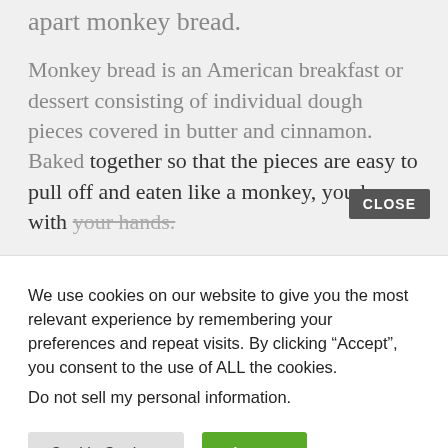apart monkey bread.
Monkey bread is an American breakfast or dessert consisting of individual dough pieces covered in butter and cinnamon. Baked together so that the pieces are easy to pull off and eaten like a monkey, you know, with your hands.
CLOSE
We use cookies on our website to give you the most relevant experience by remembering your preferences and repeat visits. By clicking “Accept”, you consent to the use of ALL the cookies.
Do not sell my personal information.
Cookie Settings
Accept